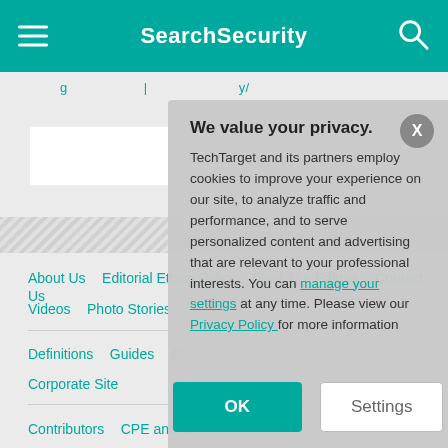SearchSecurity
About Us | Editorial Ethics Policy | Meet The Editors | Contact Us | Videos | Photo Stories
Definitions | Guides | Ac... | Corporate Site
Contributors | CPE and C...
[Figure (screenshot): Cookie consent modal popup overlay with title 'We value your privacy.', body text about TechTarget cookies, manage your settings and Privacy Policy links, OK and Settings buttons.]